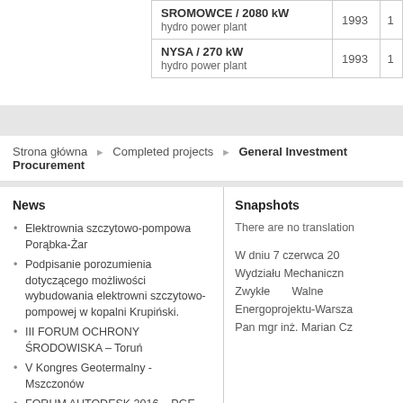| Plant | Year |  |
| --- | --- | --- |
| SROMOWCE / 2080 kW
hydro power plant | 1993 | 1 |
| NYSA / 270 kW
hydro power plant | 1993 | 1 |
Strona główna ▸ Completed projects ▸ General Investment Procurement
News
Elektrownia szczytowo-pompowa Porąbka-Żar
Podpisanie porozumienia dotyczącego możliwości wybudowania elektrowni szczytowo-pompowej w kopalni Krupiński.
III FORUM OCHRONY ŚRODOWISKA – Toruń
V Kongres Geotermalny - Mszczonów
FORUM AUTODESK 2016 – PGE Narodowy w Warszawie
Snapshots
There are no translation
W dniu 7 czerwca 20 Wydziału Mechaniczn Zwykłe Walne Energoprojektu-Warsza Pan mgr inż. Marian Cz
Copyright © 2022 Energoproj